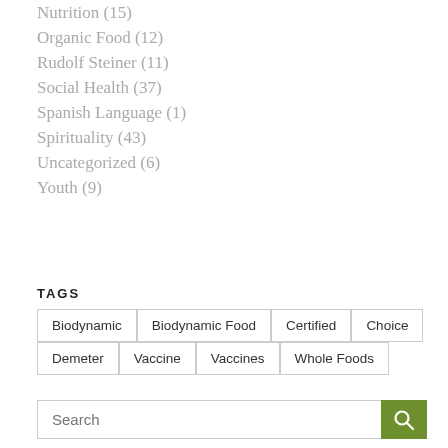Nutrition (15)
Organic Food (12)
Rudolf Steiner (11)
Social Health (37)
Spanish Language (1)
Spirituality (43)
Uncategorized (6)
Youth (9)
TAGS
Biodynamic
Biodynamic Food
Certified
Choice
Demeter
Vaccine
Vaccines
Whole Foods
Search